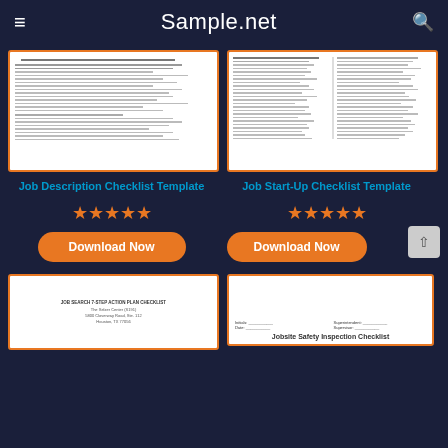Sample.net
[Figure (screenshot): Job Description Checklist Template document preview with orange border]
[Figure (screenshot): Job Start-Up Checklist Template document preview with orange border]
Job Description Checklist Template
Job Start-Up Checklist Template
[Figure (other): 5 orange stars rating for Job Description Checklist Template]
[Figure (other): 5 orange stars rating for Job Start-Up Checklist Template]
Download Now
Download Now
[Figure (screenshot): JOB SEARCH 7-STEP ACTION PLAN CHECKLIST document preview with orange border]
[Figure (screenshot): Jobsite Safety Inspection Checklist document preview with orange border]